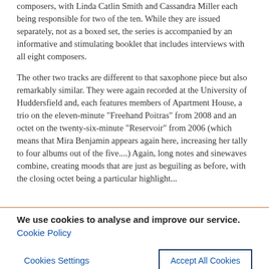composers, with Linda Catlin Smith and Cassandra Miller each being responsible for two of the ten. While they are issued separately, not as a boxed set, the series is accompanied by an informative and stimulating booklet that includes interviews with all eight composers.
The other two tracks are different to that saxophone piece but also remarkably similar. They were again recorded at the University of Huddersfield and, each features members of Apartment House, a trio on the eleven-minute "Freehand Poitras" from 2008 and an octet on the twenty-six-minute "Reservoir" from 2006 (which means that Mira Benjamin appears again here, increasing her tally to four albums out of the five....) Again, long notes and sinewaves combine, creating moods that are just as beguiling as before, with the closing octet being a particular highlight...
We use cookies to analyse and improve our service. Cookie Policy
Cookies Settings    Accept All Cookies